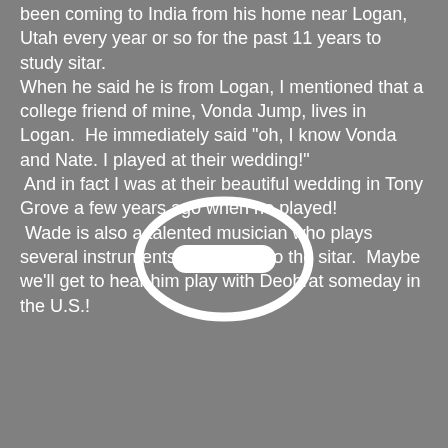been coming to India from his home near Logan, Utah every year or so for the past 11 years to study sitar. When he said he is from Logan, I mentioned that a college friend of mine, Vonda Jump, lives in Logan.  He immediately said "oh, I know Vonda and Nate. I played at their wedding!"  And in fact I was at their beautiful wedding in Tony Grove a few years ago when he played!  Wade is also a talented musician who plays several instruments in addition to the sitar.  Maybe we'll get to hear him play with Deobrat someday in the U.S.!
[Figure (other): A white outlined ellipse/oval with a white rounded rectangle (minus/dash button) in the center, on a grey background.]